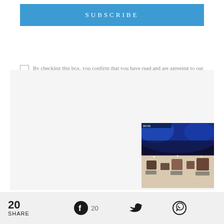SUBSCRIBE
By checking this box, you confirm that you have read and are agreeing to our terms of use regarding the storage of the data submitted through this form.
[Figure (photo): Photo of an event venue/stage with blue lighting and drums/equipment on stage floor]
20 SHARE  20  (Facebook, Twitter, WhatsApp icons)